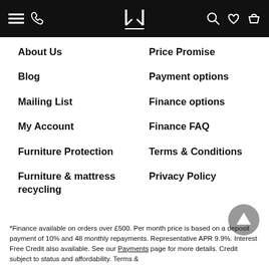JL [logo with navigation icons]
About Us
Price Promise
Blog
Payment options
Mailing List
Finance options
My Account
Finance FAQ
Furniture Protection
Terms & Conditions
Furniture & mattress recycling
Privacy Policy
*Finance available on orders over £500. Per month price is based on a deposit payment of 10% and 48 monthly repayments. Representative APR 9.9%. Interest Free Credit also available. See our Payments page for more details. Credit subject to status and affordability. Terms &